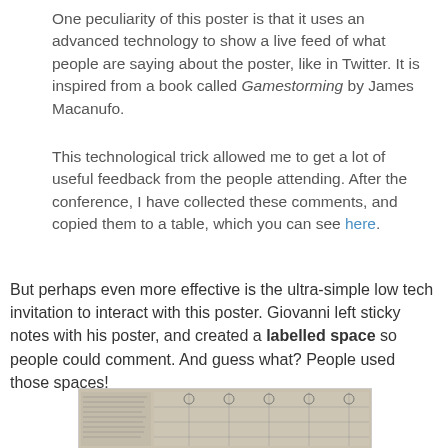One peculiarity of this poster is that it uses an advanced technology to show a live feed of what people are saying about the poster, like in Twitter. It is inspired from a book called Gamestorming by James Macanufo.
This technological trick allowed me to get a lot of useful feedback from the people attending. After the conference, I have collected these comments, and copied them to a table, which you can see here.
But perhaps even more effective is the ultra-simple low tech invitation to interact with this poster. Giovanni left sticky notes with his poster, and created a labelled space so people could comment. And guess what? People used those spaces!
[Figure (photo): A photo of a poster with sticky notes and labelled spaces, showing a scientific or engineering diagram with annotations.]